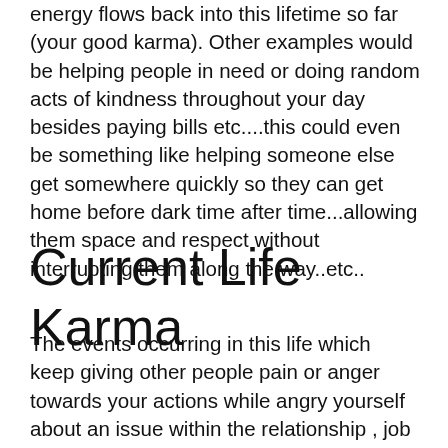energy flows back into this lifetime so far (your good karma). Other examples would be helping people in need or doing random acts of kindness throughout your day besides paying bills etc....this could even be something like helping someone else get somewhere quickly so they can get home before dark time after time...allowing them space and respect without interrupting them along the way..etc..
Current Life Karma
The events occurring in this life which keep giving other people pain or anger towards your actions while angry yourself about an issue within the relationship , job etc